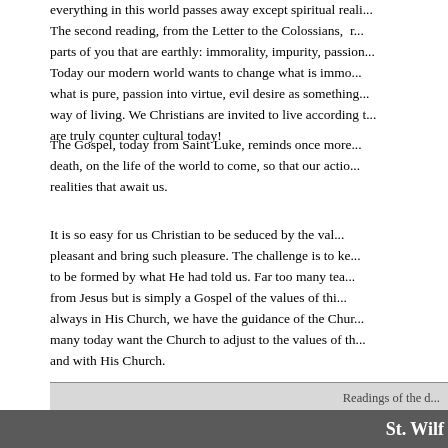everything in this world passes away except spiritual reali... The second reading, from the Letter to the Colossians, ... parts of you that are earthly: immorality, impurity, passion... Today our modern world wants to change what is immo... what is pure, passion into virtue, evil desire as something... way of living. We Christians are invited to live according t... are truly counter cultural today!
The Gospel, today from Saint Luke, reminds once more... death, on the life of the world to come, so that our actio... realities that await us.
It is so easy for us Christian to be seduced by the val... pleasant and bring such pleasure. The challenge is to ke... to be formed by what He had told us. Far too many tea... from Jesus but is simply a Gospel of the values of thi... always in His Church, we have the guidance of the Chur... many today want the Church to adjust to the values of th... and with His Church.
| Readings of the d... |
| First Reading: |
| Second Reading: |
| Gospel: |
Homily from Abbot Philip, OSB, of the Benedict...
St. Wilf...